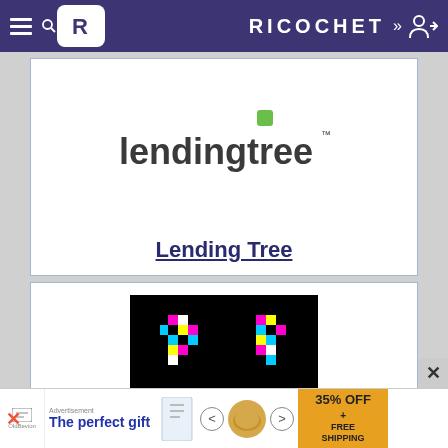RICOCHET
[Figure (logo): LendingTree logo — lowercase 'lendingtree' in dark gray with a green square accent above the letter 't']
Lending Tree
[Figure (illustration): Black background with colorful pixel-art or icon figures in pink, yellow, cyan and black/white checkerboard pattern]
The perfect gift — 35% OFF + FREE SHIPPING advertisement banner